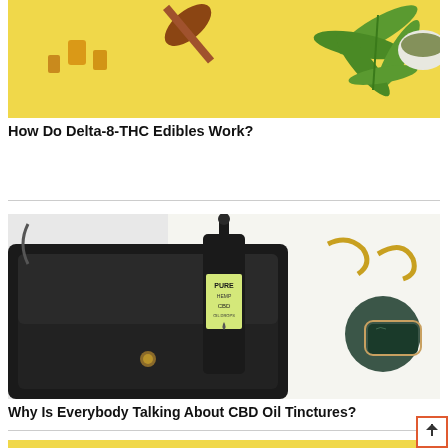[Figure (photo): Top portion of an article image showing CBD/cannabis items including spoons, oil bottles, and a cannabis leaf on a yellow background - partially cropped at top]
How Do Delta-8-THC Edibles Work?
[Figure (photo): Dark leather clutch bag with a dropper bottle of Pure CBD oil, gold earrings, and sunglasses on a white background]
Why Is Everybody Talking About CBD Oil Tinctures?
[Figure (photo): Partial view of a third article image showing fruit and herbs on a yellow background]